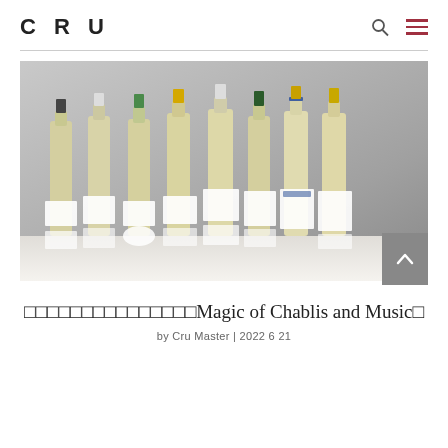CRU
[Figure (photo): Eight bottles of Chablis white wine arranged in a row against a grey stone background, each with different labels and capsule colors (dark, white, green, yellow, white, dark green, blue/gold, yellow)]
□□□□□□□□□□□□□□□Magic of Chablis and Music□
by Cru Master | 2022 6 21